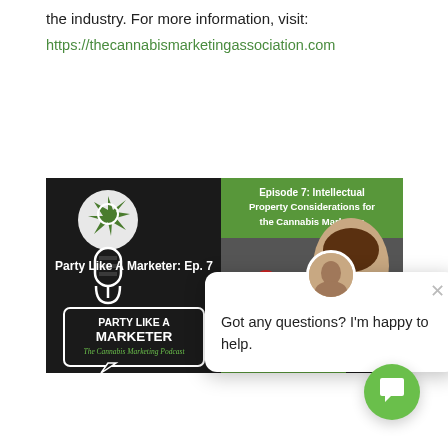the industry. For more information, visit:
https://thecannabismarketingassociation.com
[Figure (screenshot): Party Like A Marketer podcast logo and Episode 7 Intellectual Property Considerations banner with a woman (Associate Attorney) and microphone imagery, overlaid with a chat popup saying 'Got any questions? I'm happy to help.' and a green chat button in the bottom right corner.]